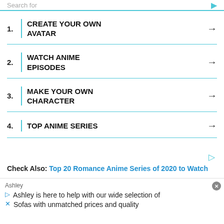1. CREATE YOUR OWN AVATAR
2. WATCH ANIME EPISODES
3. MAKE YOUR OWN CHARACTER
4. TOP ANIME SERIES
Check Also: Top 20 Romance Anime Series of 2020 to Watch
And wit... cle of
Ashley
Ashley is here to help with our wide selection of Sofas with unmatched prices and quality